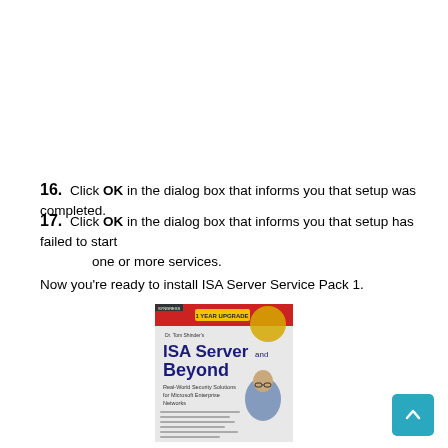16. Click OK in the dialog box that informs you that setup was completed.
17. Click OK in the dialog box that informs you that setup has failed to start one or more services.
Now you're ready to install ISA Server Service Pack 1.
[Figure (photo): Book cover of 'Dr. Tom Shinder's ISA Server and Beyond: Real-World Security Solutions for Microsoft Enterprise Networks']